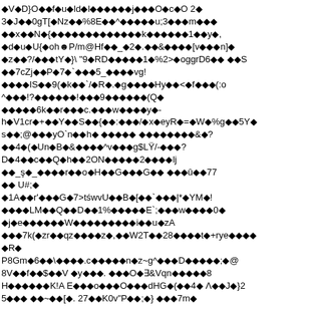corrupted/encoded binary or garbled text content displaying as replacement characters (diamond question marks) mixed with ASCII characters including symbols, numbers, and letters. The content appears to be a binary or encrypted data stream rendered as text.